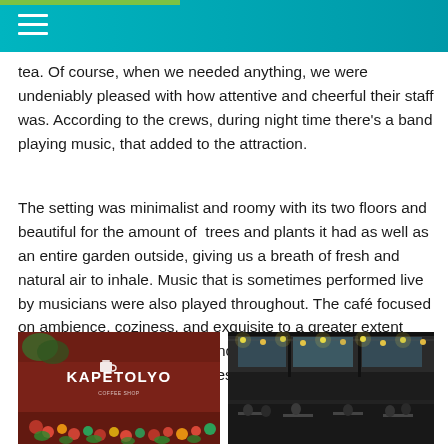tea. Of course, when we needed anything, we were undeniably pleased with how attentive and cheerful their staff was. According to the crews, during night time there's a band playing music, that added to the attraction.
The setting was minimalist and roomy with its two floors and beautiful for the amount of trees and plants it had as well as an entire garden outside, giving us a breath of fresh and natural air to inhale. Music that is sometimes performed live by musicians were also played throughout. The café focused on ambience, coziness, and exquisite to a greater extent which paid off for everybody including us who very much indulged ourselves with the aesthetic and alleviating attraction.
[Figure (photo): Exterior sign of Kapetolyo café decorated with Christmas flowers and ornaments on a red/wooden background]
[Figure (photo): Interior of a two-story café with glass walls, industrial-style ceiling with string lights, and patrons seated below]